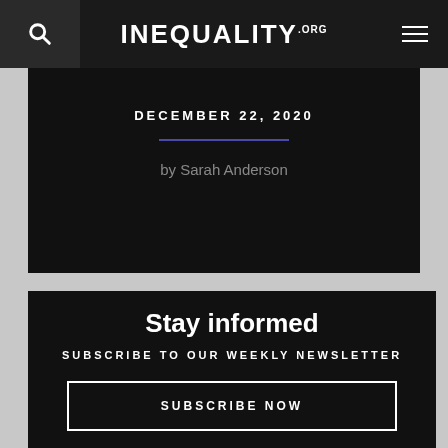INEQUALITY.ORG
DECEMBER 22, 2020
by Sarah Anderson
Stay informed
SUBSCRIBE TO OUR WEEKLY NEWSLETTER
SUBSCRIBE NOW